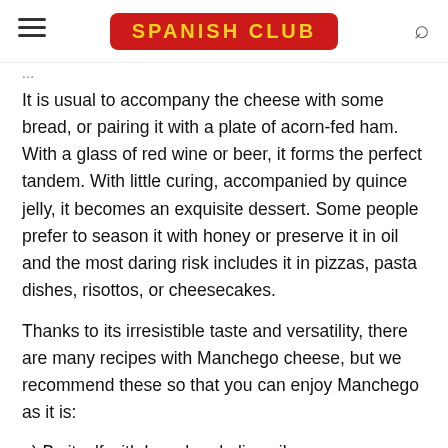SPANISH CLUB
It is usual to accompany the cheese with some bread, or pairing it with a plate of acorn-fed ham. With a glass of red wine or beer, it forms the perfect tandem. With little curing, accompanied by quince jelly, it becomes an exquisite dessert. Some people prefer to season it with honey or preserve it in oil and the most daring risk includes it in pizzas, pasta dishes, risottos, or cheesecakes.
Thanks to its irresistible taste and versatility, there are many recipes with Manchego cheese, but we recommend these so that you can enjoy Manchego as it is:
a) By itself with bread and olive oil.
b) In a Salad: The Italians have the mozzarella to prepare the Caprese salad, but Spaniards have nothing to envy